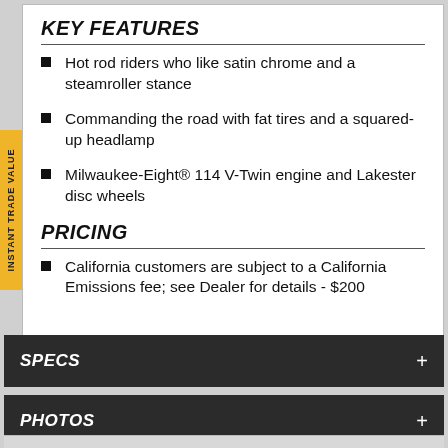KEY FEATURES
Hot rod riders who like satin chrome and a steamroller stance
Commanding the road with fat tires and a squared-up headlamp
Milwaukee-Eight® 114 V-Twin engine and Lakester disc wheels
PRICING
California customers are subject to a California Emissions fee; see Dealer for details - $200
SPECS
PHOTOS